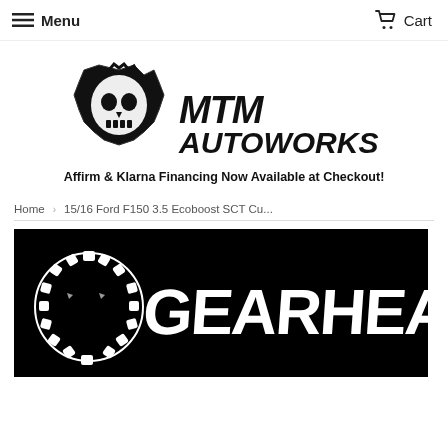Menu  Cart
[Figure (logo): MTM Autoworks logo with stylized skull/shield emblem and grunge-style text]
Affirm & Klarna Financing Now Available at Checkout!
Home > 15/16 Ford F150 3.5 Ecoboost SCT Cu...
[Figure (photo): Black background product image with white skull wearing gear crown and white grunge-style text reading GEARHEAD]